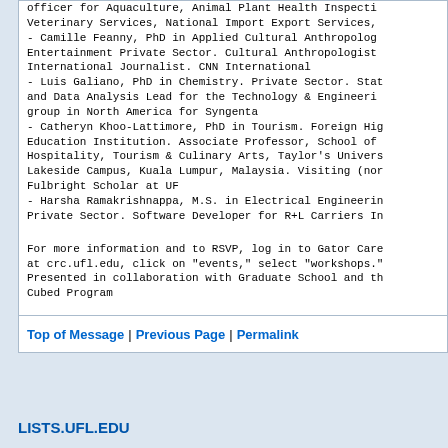officer for Aquaculture, Animal Plant Health Inspection, Veterinary Services, National Import Export Services,
- Camille Feanny, PhD in Applied Cultural Anthropology. Entertainment Private Sector. Cultural Anthropologist. International Journalist. CNN International
- Luis Galiano, PhD in Chemistry. Private Sector. Statistics and Data Analysis Lead for the Technology & Engineering group in North America for Syngenta
- Catheryn Khoo-Lattimore, PhD in Tourism. Foreign Higher Education Institution. Associate Professor, School of Hospitality, Tourism & Culinary Arts, Taylor's University Lakeside Campus, Kuala Lumpur, Malaysia. Visiting (non) Fulbright Scholar at UF
- Harsha Ramakrishnappa, M.S. in Electrical Engineering. Private Sector. Software Developer for R+L Carriers In
For more information and to RSVP, log in to Gator Career at crc.ufl.edu, click on "events," select "workshops." Presented in collaboration with Graduate School and the Cubed Program
Top of Message | Previous Page | Permalink
LISTS.UFL.EDU